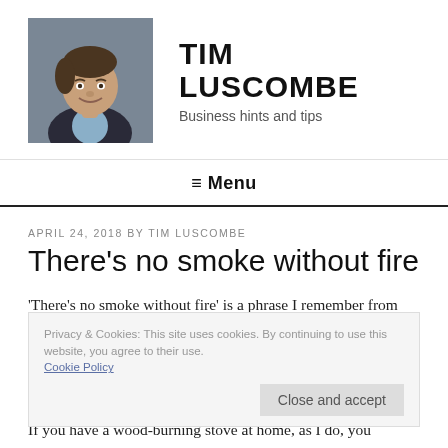[Figure (photo): Headshot of Tim Luscombe, a middle-aged man in a dark suit jacket and light blue shirt, smiling, against a grey background.]
TIM LUSCOMBE
Business hints and tips
≡ Menu
APRIL 24, 2018 BY TIM LUSCOMBE
There's no smoke without fire
'There's no smoke without fire' is a phrase I remember from my childhood, but these days it seems to have fallen into disuse – or at least into much less frequent use.
Privacy & Cookies: This site uses cookies. By continuing to use this website, you agree to their use. Cookie Policy
Close and accept
If you have a wood-burning stove at home, as I do, you